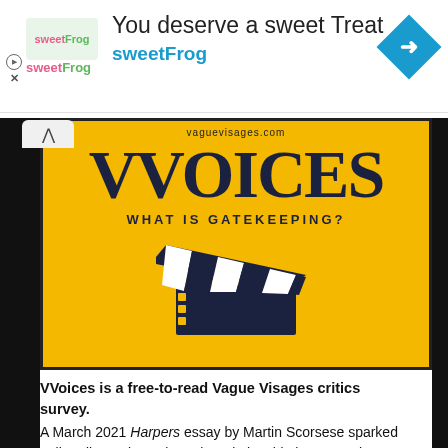[Figure (infographic): SweetFrog advertisement banner with logo, headline 'You deserve a sweet Treat', 'sweetFrog' subtext, and blue diamond arrow icon]
[Figure (infographic): VVoices article header image on yellow background: website URL 'vaguevisages.com', large bold 'VVOICES' text, subtitle 'WHAT IS GATEKEEPING?' and a film clapperboard illustration]
VVoices is a free-to-read Vague Visages critics survey.
A March 2021 Harpers essay by Martin Scorsese sparked online discussions about the relationship between cinema